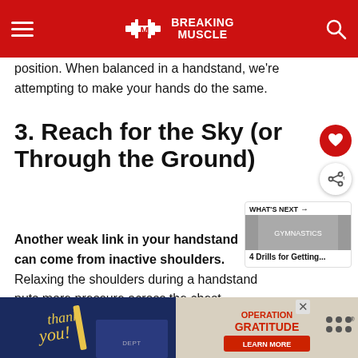BREAKING MUSCLE
position. When balanced in a handstand, we're attempting to make your hands do the same.
3. Reach for the Sky (or Through the Ground)
Another weak link in your handstand can come from inactive shoulders. Relaxing the shoulders during a handstand puts more pressure across the chest, makes you to arch your back, and requires you to use more effective abs to hold the handstand. Combine the...and
[Figure (screenshot): What's Next panel with text '4 Drills for Getting...' and a small image]
[Figure (photo): Advertisement banner at bottom - Thank You with Operation Gratitude imagery]